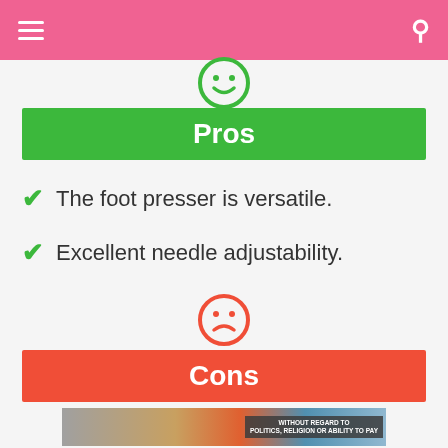[Figure (illustration): Green smiley face (happy face) icon partially visible at top]
Pros
The foot presser is versatile.
Excellent needle adjustability.
[Figure (illustration): Red sad face (frowning emoticon) icon]
Cons
[Figure (photo): Advertisement banner showing airplane cargo loading with text WITHOUT REGARD TO POLITICS, RELIGION OR ABILITY TO PAY]